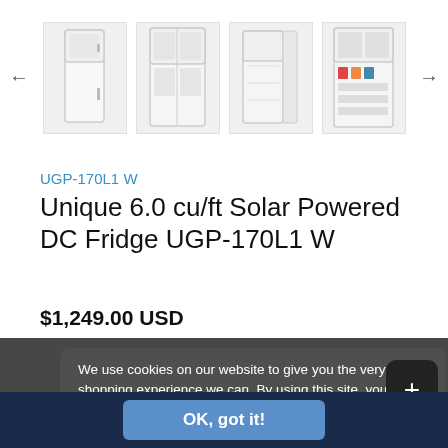[Figure (screenshot): Product image carousel showing multiple views of a white refrigerator with left and right navigation arrows]
UGP-170L1 W
Unique 6.0 cu/ft Solar Powered DC Fridge UGP-170L1 W
$1,249.00 USD
We use cookies on our website to give you the very best shopping experience we can. By using this site, you agree to its use of cookies.
OK, got it!